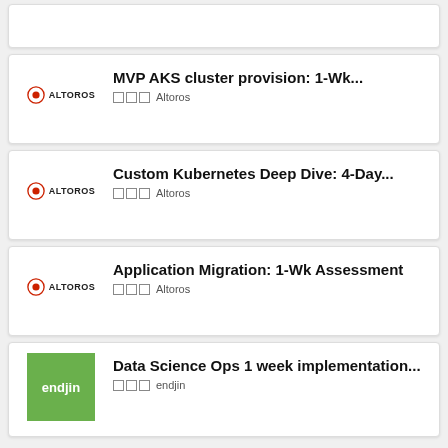[Figure (screenshot): Partial first card (cropped at top of page)]
MVP AKS cluster provision: 1-Wk...
□□□ Altoros
Custom Kubernetes Deep Dive: 4-Day...
□□□ Altoros
Application Migration: 1-Wk Assessment
□□□ Altoros
Data Science Ops 1 week implementation...
□□□ endjin